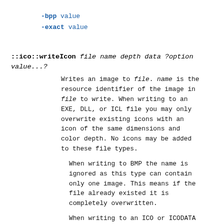-bpp value
-exact value
::ico::writeIcon file name depth data ?option value...?
Writes an image to file. name is the resource identifier of the image in file to write. When writing to an EXE, DLL, or ICL file you may only overwrite existing icons with an icon of the same dimensions and color depth. No icons may be added to these file types.
When writing to BMP the name is ignored as this type can contain only one image. This means if the file already existed it is completely overwritten.
When writing to an ICO or ICODATA